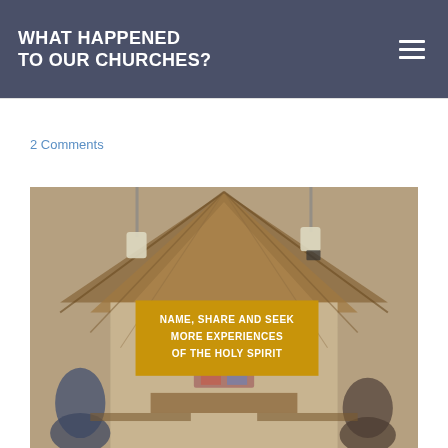WHAT HAPPENED TO OUR CHURCHES?
2 Comments
[Figure (photo): Interior of a church with wooden vaulted ceiling, pendant lights, stained glass window at the altar, and congregation seated in pews. An overlaid golden-yellow banner reads: NAME, SHARE AND SEEK MORE EXPERIENCES OF THE HOLY SPIRIT]